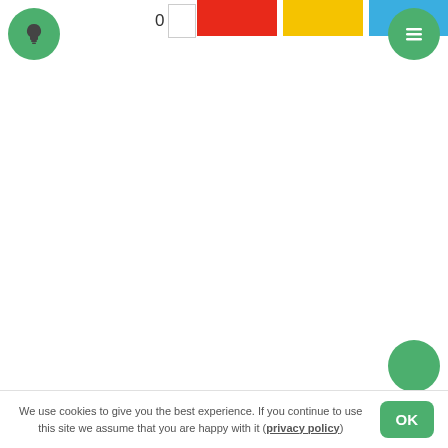[Figure (screenshot): App UI header area with a green lightbulb icon button on the left, a counter showing '0' with a white rectangle next to it, three color blocks (red, yellow, blue) along the top, and a green hamburger menu button on the right.]
We use cookies to give you the best experience. If you continue to use this site we assume that you are happy with it (privacy policy)
OK